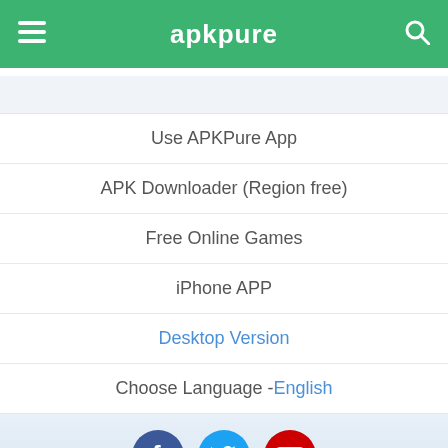apkpure
Use APKPure App
APK Downloader (Region free)
Free Online Games
iPhone APP
Desktop Version
Choose Language - English
[Figure (illustration): Social media icons: Facebook (blue circle with F), Twitter (cyan circle with bird), YouTube (red circle with play button)]
About Us | Contact Us